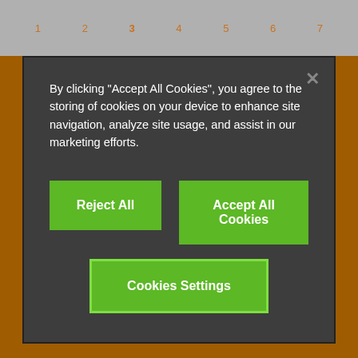1  2 3  4  5  6  7
By clicking "Accept All Cookies", you agree to the storing of cookies on your device to enhance site navigation, analyze site usage, and assist in our marketing efforts.
Reject All
Accept All Cookies
Cookies Settings
Register now
Follow us